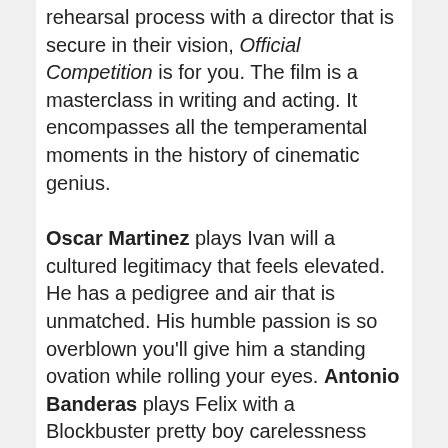rehearsal process with a director that is secure in their vision, Official Competition is for you. The film is a masterclass in writing and acting. It encompasses all the temperamental moments in the history of cinematic genius.
Oscar Martinez plays Ivan will a cultured legitimacy that feels elevated. He has a pedigree and air that is unmatched. His humble passion is so overblown you'll give him a standing ovation while rolling your eyes. Antonio Banderas plays Felix with a Blockbuster pretty boy carelessness that is so familiar it's brilliant. He is every cliché wrapped in a bow. Banderas brings a hot-tempered and diva nature to Felix. Almost play acting against Martinez, the evolution of their chemistry is like